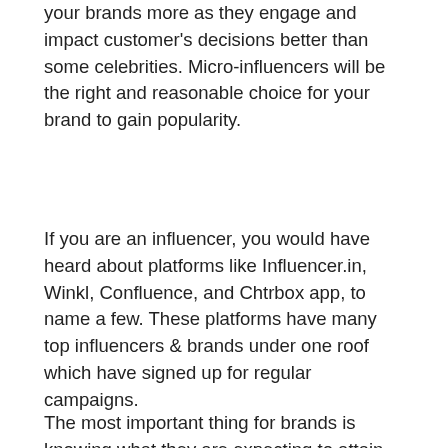your brands more as they engage and impact customer's decisions better than some celebrities. Micro-influencers will be the right and reasonable choice for your brand to gain popularity.
If you are an influencer, you would have heard about platforms like Influencer.in, Winkl, Confluence, and Chtrbox app, to name a few. These platforms have many top influencers & brands under one roof which have signed up for regular campaigns.
The most important thing for brands is knowing what they are expecting to attain from such Influencer marketing drives. The goals & objectives should be decided in advance, which will help in framing the strategy successfully. The next thing is to target and attract an audience to implement your strategy. Next, you need to select the social media platform from where you want to implement your influencer drives. Choose